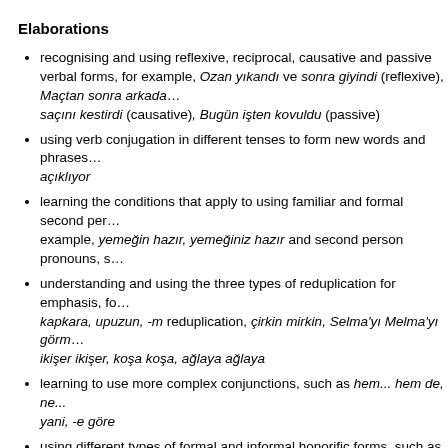Elaborations
recognising and using reflexive, reciprocal, causative and passive verbal forms, for example, Ozan yıkandı ve sonra giyindi (reflexive), Maçtan sonra arkada… saçını kestirdi (causative), Bugün işten kovuldu (passive)
using verb conjugation in different tenses to form new words and phrases… açıklıyor
learning the conditions that apply to using familiar and formal second person, for example, yemeğin hazır, yemeğiniz hazır and second person pronouns, s…
understanding and using the three types of reduplication for emphasis, fo… kapkara, upuzun, -m reduplication, çirkin mirkin, Selma'yı Melma'yı görm… ikişer ikişer, koşa koşa, ağlaya ağlaya
learning to use more complex conjunctions, such as hem... hem de, ne... yani, -e göre
using different types of formal and informal honorific forms, such as Bey/H… Ağa/Hanımağa, Sayın, abi/ağabey/abla, hoca/öğretmen, bay/bayan
using a range of interrogative word endings and more complex interrogat… yapacak mı? Sunumu beraber yapıyor muyuz? Ne kadar uzun olsun? Ya…
using compound and complex sentences, for example, Ayşe telefonda ko… Zeynep ne telefonda konuşmaktan ne de bilgisayarda oyun oynamaktan
recognising a wider range of idiomatic expressions and using a variety of…
developing metalanguage for identifying and explaining different types of… structures relating to grammatical functions, such as predicates… cts
learning how to use different auxiliary verbs formed by adding… ch nouns and attaching them to single-syllable words, for example,… m namaz kılmak, göç kalmak